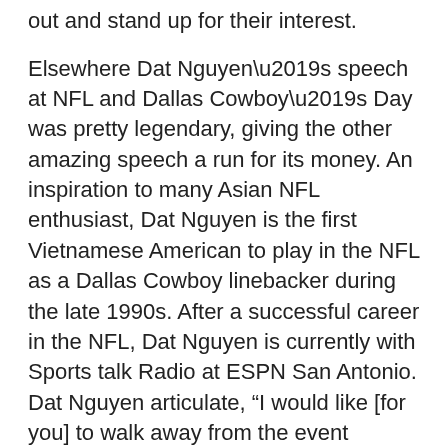out and stand up for their interest.
Elsewhere Dat Nguyen’s speech at NFL and Dallas Cowboy’s Day was pretty legendary, giving the other amazing speech a run for its money. An inspiration to many Asian NFL enthusiast, Dat Nguyen is the first Vietnamese American to play in the NFL as a Dallas Cowboy linebacker during the late 1990s. After a successful career in the NFL, Dat Nguyen is currently with Sports talk Radio at ESPN San Antonio. Dat Nguyen articulate, “I would like [for you] to walk away from the event knowing don’t let anyone tell you that you can’t do something. There’s nothing wrong with dreaming big, but you have to put time and effort in order to gain an edge. It’s all about attitude!”